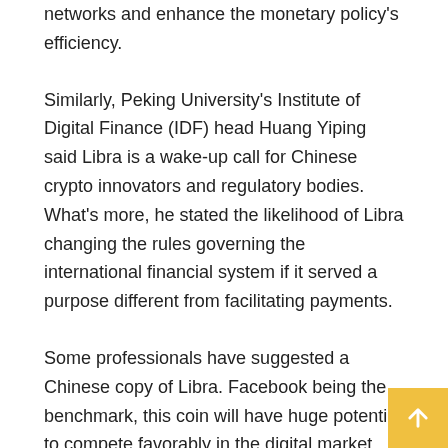networks and enhance the monetary policy's efficiency.
Similarly, Peking University's Institute of Digital Finance (IDF) head Huang Yiping said Libra is a wake-up call for Chinese crypto innovators and regulatory bodies. What's more, he stated the likelihood of Libra changing the rules governing the international financial system if it served a purpose different from facilitating payments.
Some professionals have suggested a Chinese copy of Libra. Facebook being the benchmark, this coin will have huge potential to compete favorably in the digital market. The Chinese cryptocurrency could also have domestic uses but Wang says the matter is being discussed.
Even so, Huawei boss Ren Zhengfei disagrees with